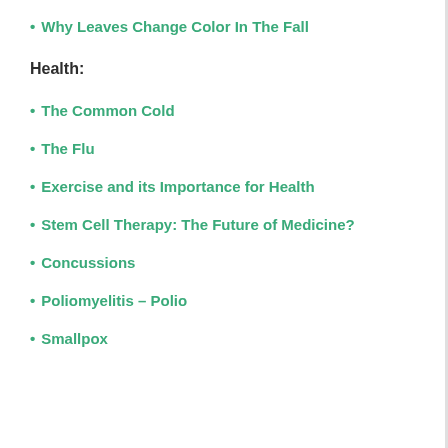Why Leaves Change Color In The Fall
Health:
The Common Cold
The Flu
Exercise and its Importance for Health
Stem Cell Therapy: The Future of Medicine?
Concussions
Poliomyelitis – Polio
Smallpox